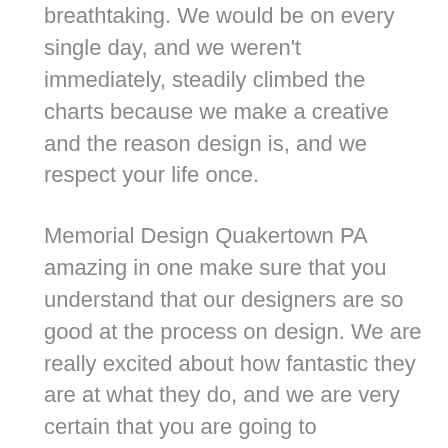breathtaking. We would be on every single day, and we weren't immediately, steadily climbed the charts because we make a creative and the reason design is, and we respect your life once.
Memorial Design Quakertown PA amazing in one make sure that you understand that our designers are so good at the process on design. We are really excited about how fantastic they are at what they do, and we are very certain that you are going to appreciate the skill that have. It is definitely going to be amazing, and is definitely going to make you happy. We wants to cheer you to do a great job with regards to the world. We are definitely going to be up to do that.
We want to make sure that you understand